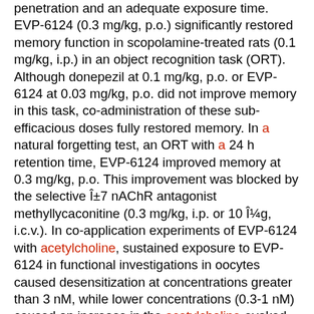penetration and an adequate exposure time. EVP-6124 (0.3 mg/kg, p.o.) significantly restored memory function in scopolamine-treated rats (0.1 mg/kg, i.p.) in an object recognition task (ORT). Although donepezil at 0.1 mg/kg, p.o. or EVP-6124 at 0.03 mg/kg, p.o. did not improve memory in this task, co-administration of these sub-efficacious doses fully restored memory. In a natural forgetting test, an ORT with a 24 h retention time, EVP-6124 improved memory at 0.3 mg/kg, p.o. This improvement was blocked by the selective α7 nAChR antagonist methyllycaconitine (0.3 mg/kg, i.p. or 10 μg, i.c.v.). In co-application experiments of EVP-6124 with acetylcholine, sustained exposure to EVP-6124 in functional investigations in oocytes caused desensitization at concentrations greater than 3 nM, while lower concentrations (0.3-1 nM) caused an increase in the acetylcholine-evoked response. These actions were interpreted as representing a co-agonist activity of EVP-6124 with acetylcholine on α7 nAChRs. The concentrations of EVP-6124 that resulted in physiological potentiation were consistent with the free drug concentrations in brain that improved memory performance in the ORT. These data suggest that the selective partial agonist EVP-6124 improves memory performance by potentiating the acetylcholine response of α7 nAChRs and support new therapeutic strategies for the treatment of cognitive